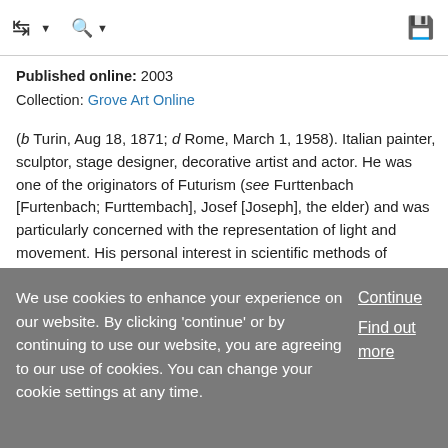[Navigation icons: back arrow with dropdown, search with dropdown, save/floppy disk icon]
Published online: 2003
Collection: Grove Art Online
(b Turin, Aug 18, 1871; d Rome, March 1, 1958). Italian painter, sculptor, stage designer, decorative artist and actor. He was one of the originators of Futurism (see Furttenbach [Furtenbach; Furttembach], Josef [Joseph], the elder) and was particularly concerned with the representation of light and movement. His personal interest in scientific methods of analysis contributed to both the practical and ideological bases of the movement.
We use cookies to enhance your experience on our website. By clicking 'continue' or by continuing to use our website, you are agreeing to our use of cookies. You can change your cookie settings at any time.